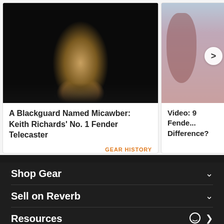[Figure (photo): Concert photo of a musician (Keith Richards) playing guitar on a dark stage, partially visible left card]
A Blackguard Named Micawber: Keith Richards' No. 1 Fender Telecaster
GEAR HISTORY
[Figure (photo): Partial right card showing a pink/salmon colored Fender guitar body with a next arrow button]
Video: 9 Fende... Difference?
Shop Gear
Sell on Reverb
Resources